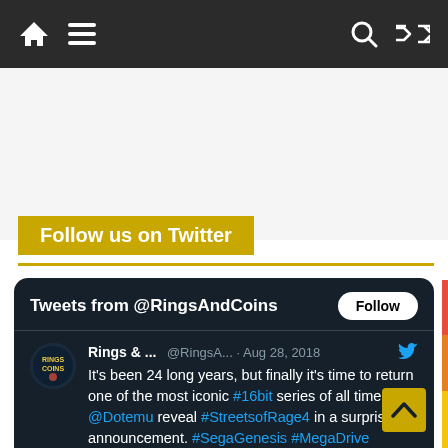Navigation bar with home, menu, search, and shuffle icons
Follow us on Twitter
[Figure (screenshot): Embedded Twitter widget showing tweets from @RingsAndCoins with a Follow button, displaying a tweet from Aug 28, 2018 about Streets of Rage 4 announcement.]
Rings & ... @RingsA... · Aug 28, 2018
It's been 24 long years, but finally it's time to return one of the most iconic #16bit series of all time as @Dotemu reveal #StreetsofRage4 in a surprise announcement. #SegaGenesis #MegaDrive #RETROGAMING #SEGA ringsandcoins.com/news-streets-o...
1  5